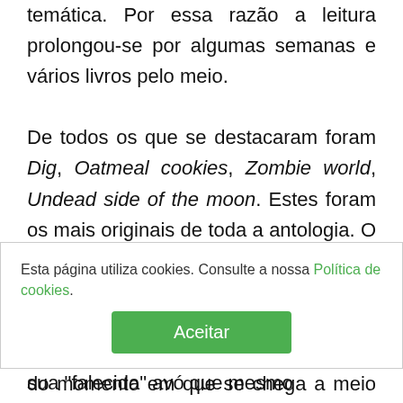temática. Por essa razão a leitura prolongou-se por algumas semanas e vários livros pelo meio. De todos os que se destacaram foram Dig, Oatmeal cookies, Zombie world, Undead side of the moon. Estes foram os mais originais de toda a antologia. O Oatmeal Cookies adopta a visão de uma criança num apocalipse zombie contando as últimas horas antes de se deixar seduzir pelas bolachinhas da sua "falecida" avó que mesmo
Esta página utiliza cookies. Consulte a nossa Política de cookies.
Aceitar
do momento em que se chega a meio se